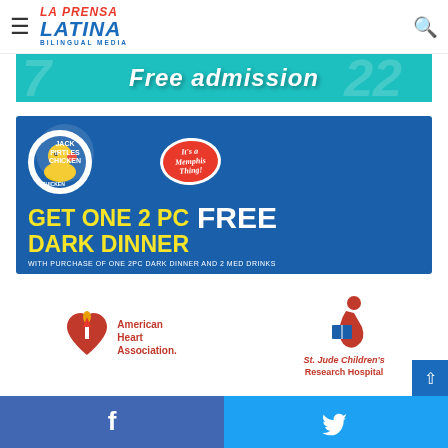La Prensa Latina — Bilingual Media (header with hamburger menu and search icon)
[Figure (illustration): Partial banner ad showing free admission event with teal background and large watermark numbers 7 and 22]
[Figure (illustration): Jack Pirtles Chicken advertisement on blue background: Get One 2 PC Dark Dinner FREE with purchase of one 2PC dark dinner and 2 med drinks. It's a Memphis Thing!]
[Figure (logo): American Heart Association logo with red heart and torch icon]
[Figure (logo): St. Jude Children's Research Hospital logo with child figure reading]
Facebook share button | Twitter share button